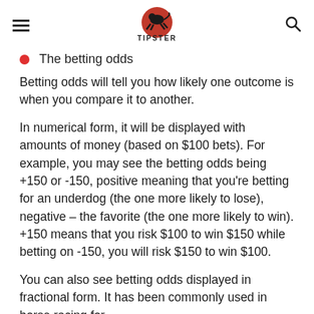TIPSTER
The betting odds
Betting odds will tell you how likely one outcome is when you compare it to another.
In numerical form, it will be displayed with amounts of money (based on $100 bets). For example, you may see the betting odds being +150 or -150, positive meaning that you're betting for an underdog (the one more likely to lose), negative – the favorite (the one more likely to win). +150 means that you risk $100 to win $150 while betting on -150, you will risk $150 to win $100.
You can also see betting odds displayed in fractional form. It has been commonly used in horse racing for